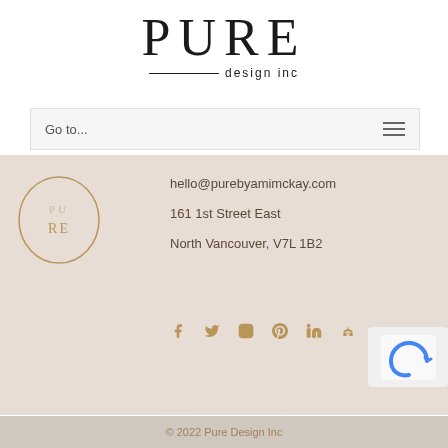[Figure (logo): PURE design inc logo with large serif PURE text and 'design inc' subtitle with decorative line]
Go to...
[Figure (logo): PURE circular logo in tan/gold color on beige footer background]
hello@purebyamimckay.com
161 1st Street East
North Vancouver, V7L 1B2
[Figure (infographic): Social media icons: Facebook, Twitter, Instagram, Pinterest, LinkedIn, Houzz in gold/tan color]
[Figure (other): reCAPTCHA widget partial]
© 2022 Pure Design Inc